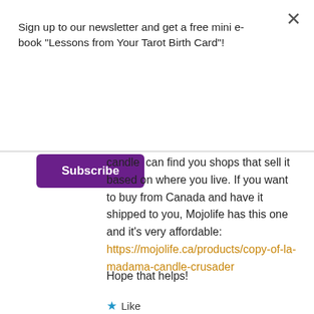Sign up to our newsletter and get a free mini e-book "Lessons from Your Tarot Birth Card"!
Subscribe
candle  can find you shops that sell it based on where you live. If you want to buy from Canada and have it shipped to you, Mojolife has this one and it's very affordable: https://mojolife.ca/products/copy-of-la-madama-candle-crusader
Hope that helps!
Like